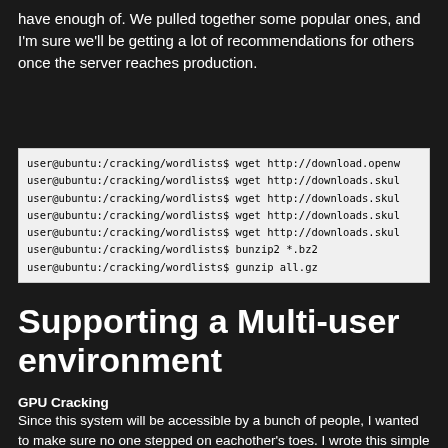have enough of. We pulled together some popular ones, and I'm sure we'll be getting a lot of recommendations for others once the server reaches production.
[Figure (screenshot): Terminal screenshot showing wget and decompression commands run from user@ubuntu:/cracking/wordlists$]
Supporting a Multi-user environment
GPU Cracking
Since this system will be accessible by a bunch of people, I wanted to make sure no one stepped on eachother's toes. I wrote this simple wrapper so that if anyone tried to used oclHashcat or pyrit, while someone else is, they'd be told not to.